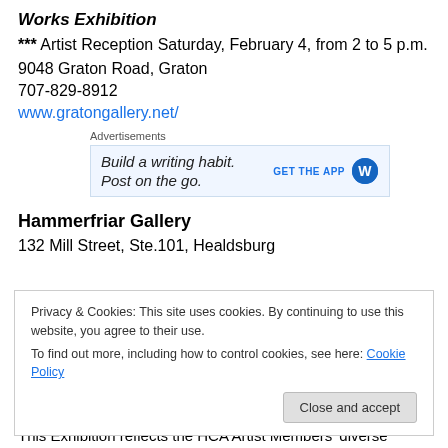Works Exhibition
*** Artist Reception Saturday, February 4, from 2 to 5 p.m.
9048 Graton Road, Graton
707-829-8912
www.gratongallery.net/
[Figure (other): Advertisement banner for a writing app with text 'Build a writing habit. Post on the go.' and 'GET THE APP' button with WordPress logo]
Hammerfriar Gallery
132 Mill Street, Ste.101, Healdsburg
Privacy & Cookies: This site uses cookies. By continuing to use this website, you agree to their use.
To find out more, including how to control cookies, see here: Cookie Policy
This Exhibition reflects the HCA Artist Members' diverse